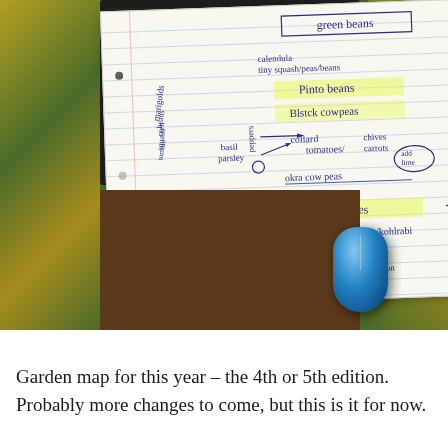[Figure (photo): A photograph showing a handwritten garden planning map on lined notebook paper, placed on a laptop keyboard on a wooden desk. The notebook shows plant companion planting arrangements including: marigolds, beans, corn, squash, tomato, green beans, calendula, tiny squash, pinto beans, black-eyed peas, basil, parsley, peppers, collargreens, tomatoes/carrots/chives, okra, cow peas, sweet potatoes, cabbage/brussel sprouts/kohlrabi, mint, blueberries. A blue computer mouse is visible in the lower right. Yellow flowers frame the sides of the image.]
Garden map for this year – the 4th or 5th edition. Probably more changes to come, but this is it for now.
Pl...